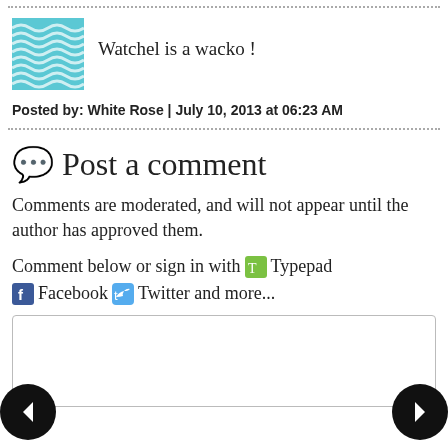[Figure (illustration): Decorative wavy blue pattern avatar image for user White Rose]
Watchel is a wacko !
Posted by: White Rose | July 10, 2013 at 06:23 AM
Post a comment
Comments are moderated, and will not appear until the author has approved them.
Comment below or sign in with Typepad Facebook Twitter and more...